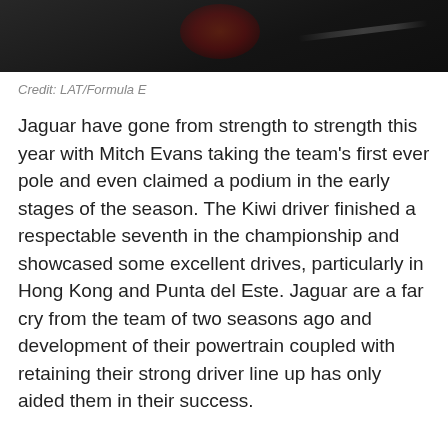[Figure (photo): Dark background photo with red light and diagonal metallic element, partial crop at top of page]
Credit: LAT/Formula E
Jaguar have gone from strength to strength this year with Mitch Evans taking the team's first ever pole and even claimed a podium in the early stages of the season. The Kiwi driver finished a respectable seventh in the championship and showcased some excellent drives, particularly in Hong Kong and Punta del Este. Jaguar are a far cry from the team of two seasons ago and development of their powertrain coupled with retaining their strong driver line up has only aided them in their success.